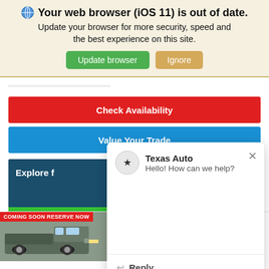Your web browser (iOS 11) is out of date. Update your browser for more security, speed and the best experience on this site.
[Figure (screenshot): Browser update banner with Update browser (green) and Ignore (tan) buttons]
[Figure (screenshot): Car dealership webpage showing Check Availability (red button), Value Your Trade (blue button), Explore panel, and a Texas Auto chat popup with Hello! How can we help? message and Reply option]
[Figure (screenshot): Vehicle listing: Certified Pre-Owned 2021 Ford F-250SD Lariat, Stock: PD38160, VIN: 1FT7W2BTXMED38160, with truck photo labeled COMING SOON RESERVE NOW]